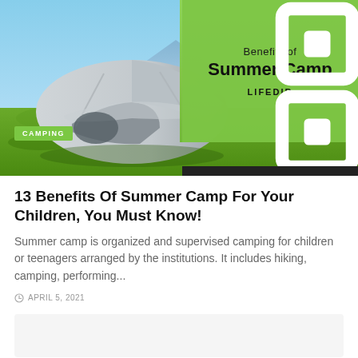[Figure (photo): Hero image showing a tent on green grass with a green overlay panel on the right containing the text 'Benefits of Summer Camp' and 'LIFEDIR' logo, with a 'CAMPING' badge in the lower left.]
13 Benefits Of Summer Camp For Your Children, You Must Know!
Summer camp is organized and supervised camping for children or teenagers arranged by the institutions. It includes hiking, camping, performing...
APRIL 5, 2021